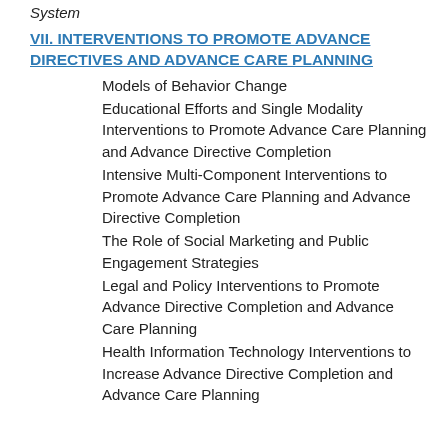System
VII. INTERVENTIONS TO PROMOTE ADVANCE DIRECTIVES AND ADVANCE CARE PLANNING
Models of Behavior Change
Educational Efforts and Single Modality Interventions to Promote Advance Care Planning and Advance Directive Completion
Intensive Multi-Component Interventions to Promote Advance Care Planning and Advance Directive Completion
The Role of Social Marketing and Public Engagement Strategies
Legal and Policy Interventions to Promote Advance Directive Completion and Advance Care Planning
Health Information Technology Interventions to Increase Advance Directive Completion and Advance Care Planning